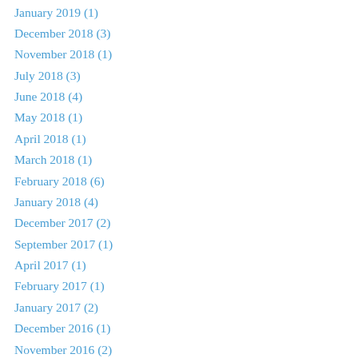January 2019 (1)
December 2018 (3)
November 2018 (1)
July 2018 (3)
June 2018 (4)
May 2018 (1)
April 2018 (1)
March 2018 (1)
February 2018 (6)
January 2018 (4)
December 2017 (2)
September 2017 (1)
April 2017 (1)
February 2017 (1)
January 2017 (2)
December 2016 (1)
November 2016 (2)
July 2016 (1)
May 2016 (1)
April 2016 (1)